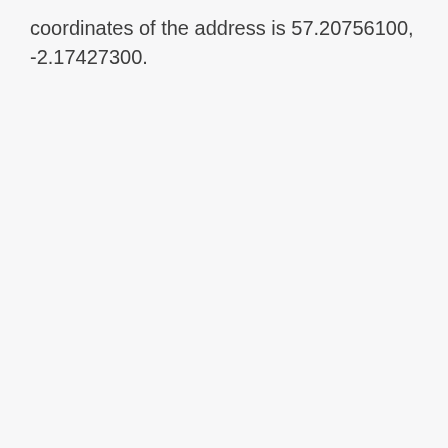coordinates of the address is 57.20756100, -2.17427300.